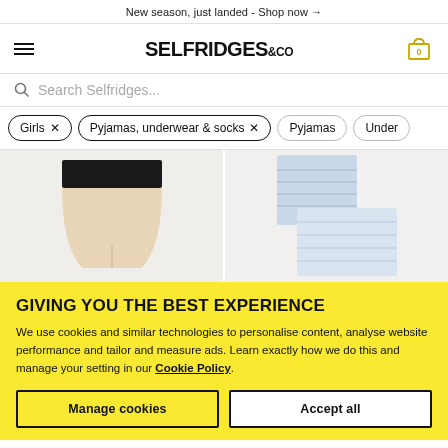New season, just landed - Shop now →
[Figure (logo): Selfridges & Co logo with hamburger menu and shopping cart icon showing 0 items]
Search Selfridges...
Girls ×
Pyjamas, underwear & socks ×
Pyjamas
Under
[Figure (photo): Two product photos: left showing beige/nude girls underwear shorts with dark waistband; right showing light blue striped pyjama set]
GIVING YOU THE BEST EXPERIENCE
We use cookies and similar technologies to personalise content, analyse website performance and tailor and measure ads. Learn exactly how we do this and manage your setting in our Cookie Policy.
Manage cookies
Accept all